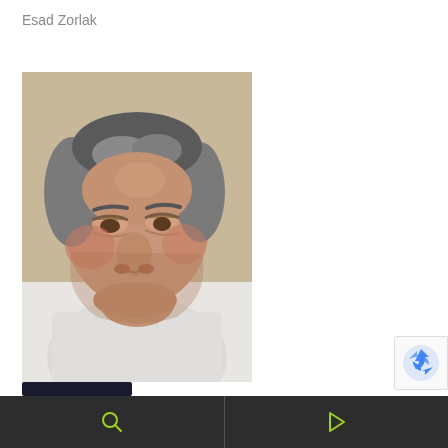Esad Zorlak
[Figure (photo): Close-up photo of a middle-aged man with grey hair wearing a white top, looking downward. Shot from a slightly elevated angle.]
[Figure (logo): reCAPTCHA badge icon partially visible in bottom right corner]